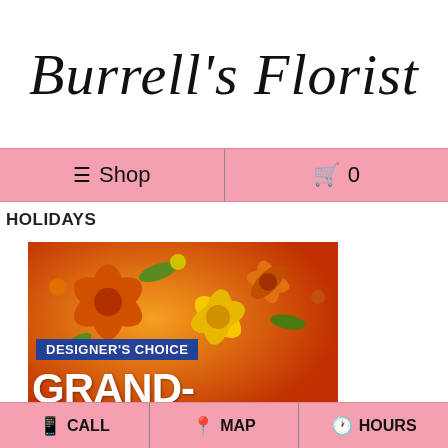Burrell's Florist
☰ Shop  🛒 0
HOLIDAYS
[Figure (photo): Floral arrangement with orange lilies and yellow daisies, with a blue banner reading DESIGNER'S CHOICE and large white text reading GRAND-PARENTS]
📱 CALL  📍 MAP  🕐 HOURS